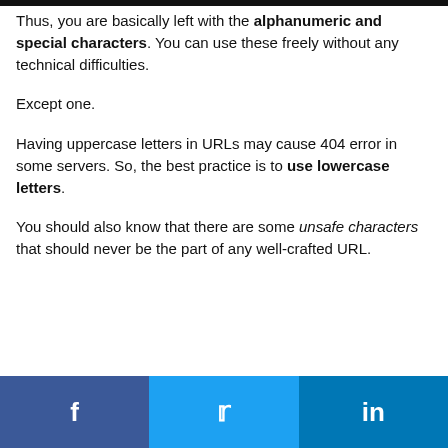Thus, you are basically left with the alphanumeric and special characters. You can use these freely without any technical difficulties.
Except one.
Having uppercase letters in URLs may cause 404 error in some servers. So, the best practice is to use lowercase letters.
You should also know that there are some unsafe characters that should never be the part of any well-crafted URL.
[Figure (infographic): Social share bar with three buttons: Facebook (dark blue), Twitter (light blue), LinkedIn (medium blue)]